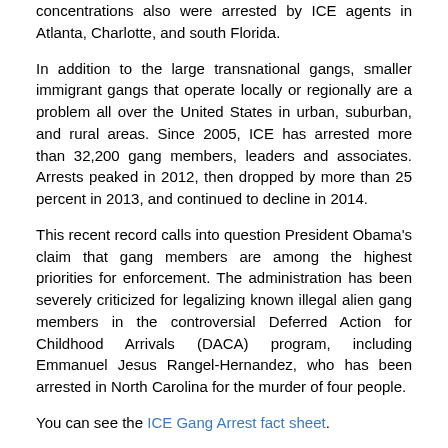concentrations also were arrested by ICE agents in Atlanta, Charlotte, and south Florida.
In addition to the large transnational gangs, smaller immigrant gangs that operate locally or regionally are a problem all over the United States in urban, suburban, and rural areas. Since 2005, ICE has arrested more than 32,200 gang members, leaders and associates. Arrests peaked in 2012, then dropped by more than 25 percent in 2013, and continued to decline in 2014.
This recent record calls into question President Obama's claim that gang members are among the highest priorities for enforcement. The administration has been severely criticized for legalizing known illegal alien gang members in the controversial Deferred Action for Childhood Arrivals (DACA) program, including Emmanuel Jesus Rangel-Hernandez, who has been arrested in North Carolina for the murder of four people.
You can see the ICE Gang Arrest fact sheet.
CIS obtained the ICE data through a Freedom of Information Act request as part of ongoing research on transnational gangs and ICE anti-gang enforcement programs. It shows that the most violent gang members arrested by ICE were disproportionately associated with the Central American gangs, including MS-13.